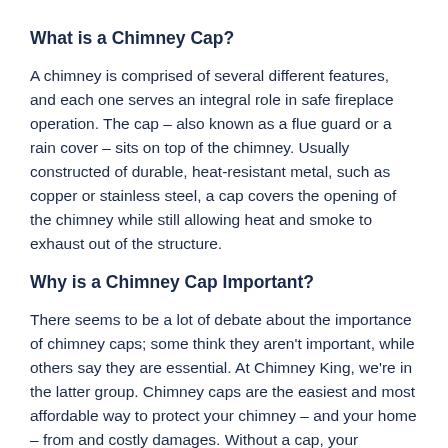What is a Chimney Cap?
A chimney is comprised of several different features, and each one serves an integral role in safe fireplace operation. The cap – also known as a flue guard or a rain cover – sits on top of the chimney. Usually constructed of durable, heat-resistant metal, such as copper or stainless steel, a cap covers the opening of the chimney while still allowing heat and smoke to exhaust out of the structure.
Why is a Chimney Cap Important?
There seems to be a lot of debate about the importance of chimney caps; some think they aren't important, while others say they are essential. At Chimney King, we're in the latter group. Chimney caps are the easiest and most affordable way to protect your chimney – and your home – from and costly damages. Without a cap, your chimney is basically a big hole in your roof, and everyone knows a roofs and holes